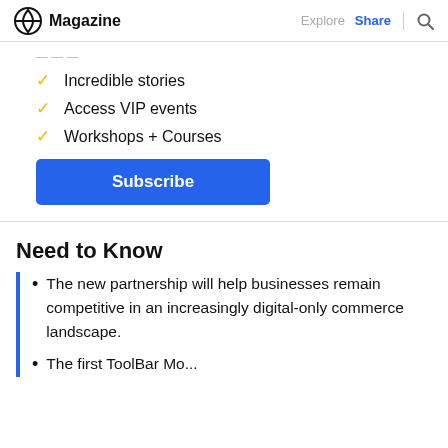Magazine | Explore | Share | Search
Incredible stories
Access VIP events
Workshops + Courses
Subscribe
Need to Know
The new partnership will help businesses remain competitive in an increasingly digital-only commerce landscape.
The first ToolBar Mo...